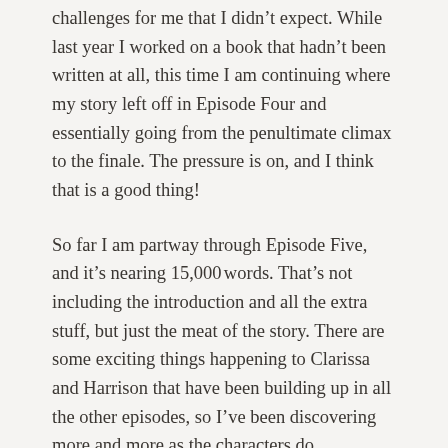challenges for me that I didn't expect. While last year I worked on a book that hadn't been written at all, this time I am continuing where my story left off in Episode Four and essentially going from the penultimate climax to the finale. The pressure is on, and I think that is a good thing!
So far I am partway through Episode Five, and it's nearing 15,000 words. That's not including the introduction and all the extra stuff, but just the meat of the story. There are some exciting things happening to Clarissa and Harrison that have been building up in all the other episodes, so I've been discovering more and more as the characters do.
I must say that watching a seance in a movie and